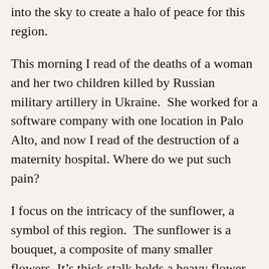into the sky to create a halo of peace for this region.
This morning I read of the deaths of a woman and her two children killed by Russian military artillery in Ukraine.  She worked for a software company with one location in Palo Alto, and now I read of the destruction of a maternity hospital.  Where do we put such pain?
I focus on the intricacy of the sunflower, a symbol of this region.  The sunflower is a bouquet, a composite of many smaller flowers. It’s thick stalk holds a heavy flower to the sky and gives us oil, the new gold.